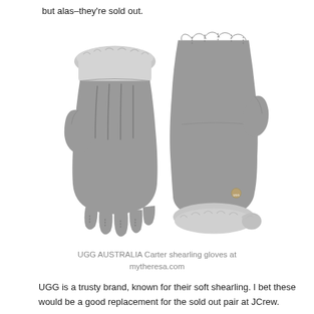but alas–they're sold out.
[Figure (photo): Two UGG AUSTRALIA Carter shearling gloves in grey/taupe color, shown side by side. Left glove shows back view with fur cuff at top. Right glove shows palm/front view with fingers spread and fur cuff at bottom, with a small gold UGG logo button on the wrist.]
UGG AUSTRALIA Carter shearling gloves at mytheresa.com
UGG is a trusty brand, known for their soft shearling. I bet these would be a good replacement for the sold out pair at JCrew.